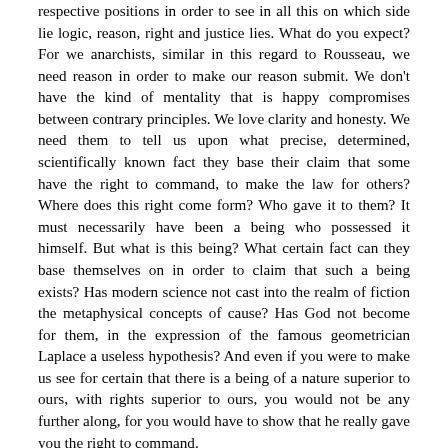respective positions in order to see in all this on which side lie logic, reason, right and justice lies. What do you expect? For we anarchists, similar in this regard to Rousseau, we need reason in order to make our reason submit. We don't have the kind of mentality that is happy compromises between contrary principles. We love clarity and honesty. We need them to tell us upon what precise, determined, scientifically known fact they base their claim that some have the right to command, to make the law for others? Where does this right come form? Who gave it to them? It must necessarily have been a being who possessed it himself. But what is this being? What certain fact can they base themselves on in order to claim that such a being exists? Has modern science not cast into the realm of fiction the metaphysical concepts of cause? Has God not become for them, in the expression of the famous geometrician Laplace a useless hypothesis? And even if you were to make us see for certain that there is a being of a nature superior to ours, with rights superior to ours, you would not be any further along, for you would have to show that he really gave you the right to command.
  For, this right to make the law, did he give it to one or many? By what certain signs will we recognize those we must obey? If there are any who have positive and undeniable titles, let them appear and show them. Where